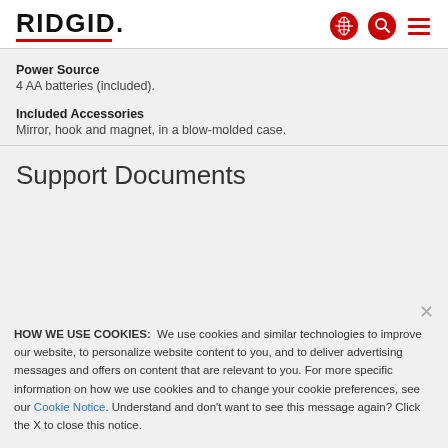[Figure (logo): RIDGID logo with red underline and red globe, search, and hamburger menu icons]
Power Source
4 AA batteries (included).
Included Accessories
Mirror, hook and magnet, in a blow-molded case.
Support Documents
HOW WE USE COOKIES: We use cookies and similar technologies to improve our website, to personalize website content to you, and to deliver advertising messages and offers on content that are relevant to you. For more specific information on how we use cookies and to change your cookie preferences, see our Cookie Notice. Understand and don't want to see this message again? Click the X to close this notice.